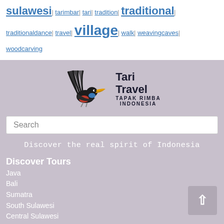sulawesi | tarimbar | tari | tradition | traditional | traditionaldance | travel | village | walk | weavingcaves | woodcarving
[Figure (logo): Tari Travel logo with stylized hornbill bird graphic and text 'Tari Travel TAPAK RIMBA INDONESIA']
Search
Discover the real spirit of Indonesia
Discover Tours
Java
Bali
Sumatra
South Sulawesi
Central Sulawesi
North Sulawesi
South & central Kalimantan